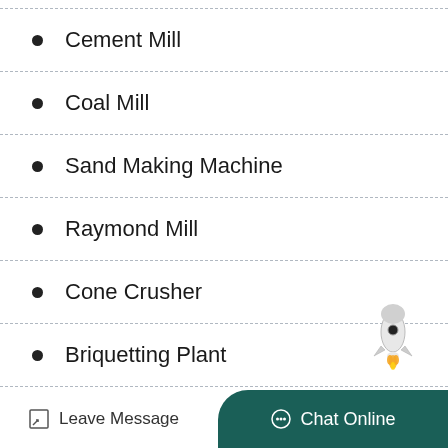Cement Mill
Coal Mill
Sand Making Machine
Raymond Mill
Cone Crusher
Briquetting Plant
[Figure (illustration): Rocket emoji illustration in the bottom-right corner of the list area]
Leave Message   Chat Online